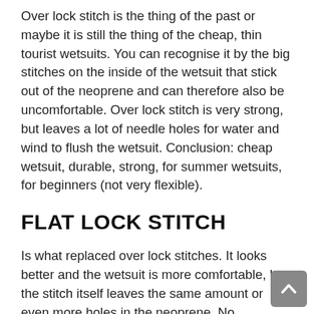Over lock stitch is the thing of the past or maybe it is still the thing of the cheap, thin tourist wetsuits. You can recognise it by the big stitches on the inside of the wetsuit that stick out of the neoprene and can therefore also be uncomfortable. Over lock stitch is very strong, but leaves a lot of needle holes for water and wind to flush the wetsuit. Conclusion: cheap wetsuit, durable, strong, for summer wetsuits, for beginners (not very flexible).
FLAT LOCK STITCH
Is what replaced over lock stitches. It looks better and the wetsuit is more comfortable, but the stitch itself leaves the same amount or even more holes in the neoprene. No improvement for warmth here. Flat lock stitch is strong, but the thread is exposed on the outside of the wetsuit and is therefore more likely to tear. Conclusion: still pretty cheap wetsuit, strong and durable,